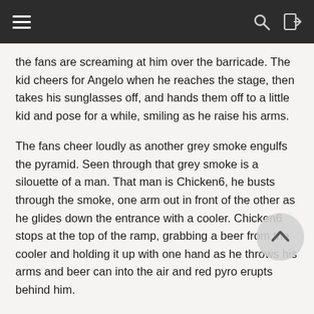the fans are screaming at him over the barricade. The kid cheers for Angelo when he reaches the stage, then takes his sunglasses off, and hands them off to a little kid and pose for a while, smiling as he raise his arms.
The fans cheer loudly as another grey smoke engulfs the pyramid. Seen through that grey smoke is a silouette of a man. That man is Chicken6, he busts through the smoke, one arm out in front of the other as he glides down the entrance with a cooler. Chicken6 stops at the top of the ramp, grabbing a beer from the cooler and holding it up with one hand as he throws his arms and beer can into the air and red pyro erupts behind him.
Chicken6 join Angelo for the LL high five and with the